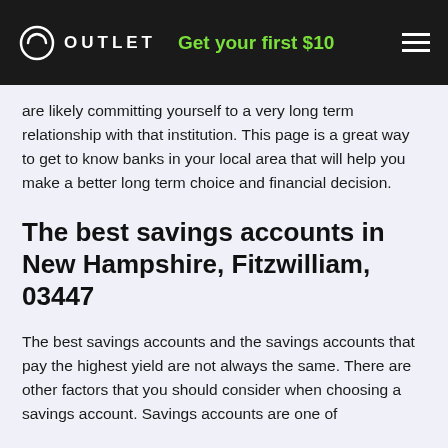OUTLET  Get your first $10
are likely committing yourself to a very long term relationship with that institution. This page is a great way to get to know banks in your local area that will help you make a better long term choice and financial decision.
The best savings accounts in New Hampshire, Fitzwilliam, 03447
The best savings accounts and the savings accounts that pay the highest yield are not always the same. There are other factors that you should consider when choosing a savings account. Savings accounts are one of